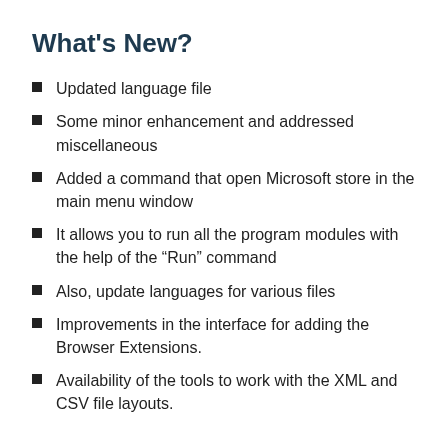What's New?
Updated language file
Some minor enhancement and addressed miscellaneous
Added a command that open Microsoft store in the main menu window
It allows you to run all the program modules with the help of the “Run” command
Also, update languages for various files
Improvements in the interface for adding the Browser Extensions.
Availability of the tools to work with the XML and CSV file layouts.